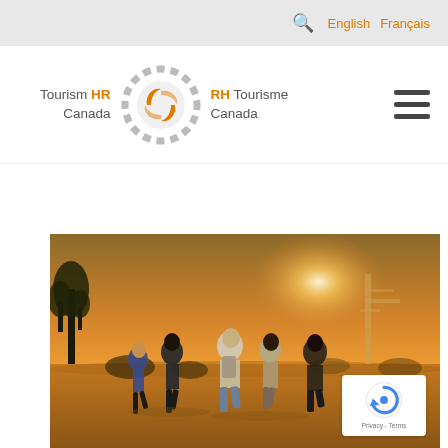Tourism HR Canada / RH Tourisme Canada — English Français
[Figure (logo): Tourism HR Canada / RH Tourisme Canada bilingual logo with circular dashed ring and orange center motif]
[Figure (photo): Group of five people running away from camera through a desert landscape with Joshua trees and warm golden sunset light]